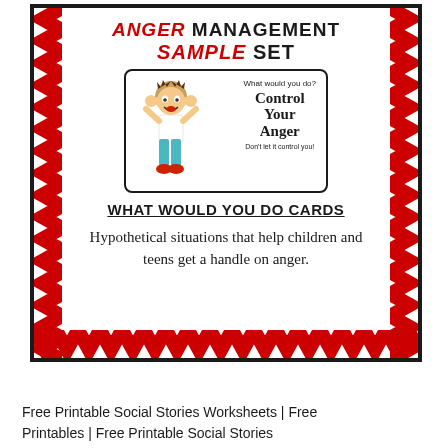Management Sample Set
[Figure (illustration): Cartoon boy with arms raised and text: What would you do? Control Your Anger. Don't let it control you!]
WHAT WOULD YOU DO CARDS
Hypothetical situations that help children and teens get a handle on anger.
Free Printable Social Stories Worksheets | Free Printables | Free Printable Social Stories